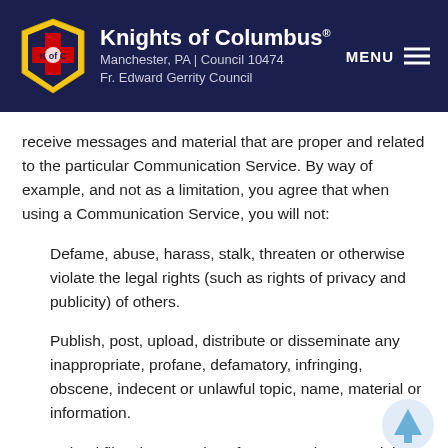Knights of Columbus® Manchester, PA | Council 10474 Fr. Edward Gerrity Council MENU
receive messages and material that are proper and related to the particular Communication Service. By way of example, and not as a limitation, you agree that when using a Communication Service, you will not:
Defame, abuse, harass, stalk, threaten or otherwise violate the legal rights (such as rights of privacy and publicity) of others.
Publish, post, upload, distribute or disseminate any inappropriate, profane, defamatory, infringing, obscene, indecent or unlawful topic, name, material or information.
Upload files that contain software or other material